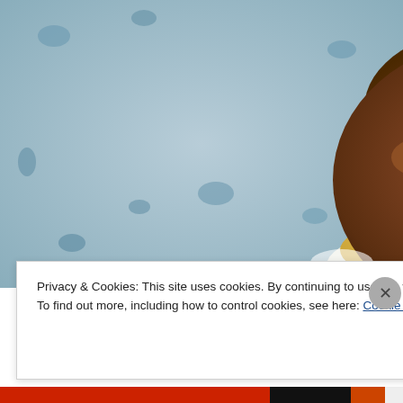[Figure (photo): Close-up photo of baked muffins with crumbly brown tops, red berry pieces visible, sitting in gold/white muffin cups on a blue patterned surface/tablecloth. Two muffins visible — one partially at top, one large in center-bottom.]
Privacy & Cookies: This site uses cookies. By continuing to use this website, you agree to their use.
To find out more, including how to control cookies, see here: Cookie Policy
Close and accept